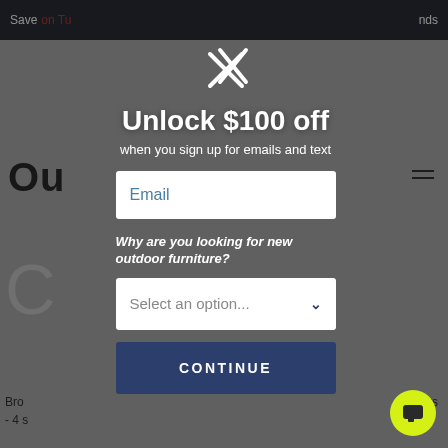Save ... ends on Tu...
Ou...
Bro... irs - 4 s...
$4,...
Unlock $100 off
when you sign up for emails and text
Email
Why are you looking for new outdoor furniture?
Select an option...
CONTINUE